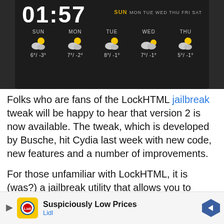[Figure (screenshot): Mobile weather widget screenshot on dark background showing time 01:57, days of week SUN MON TUE WED THU with weather icons and temperatures: SUN 6°/-3°, MON 7°/-2°, TUE 8°/-1°, WED 7°/-1°, THU 5°/-1°]
Folks who are fans of the LockHTML jailbreak tweak will be happy to hear that version 2 is now available. The tweak, which is developed by Busche, hit Cydia last week with new code, new features and a number of improvements.
For those unfamiliar with LockHTML, it is (was?) a jailbreak utility that allows you to customize the appearance of your iPhone's lock screen. It is a theme-hider... version
[Figure (screenshot): Ad banner: Suspiciously Low Prices - Lidl, with Lidl logo and navigation arrow icon]